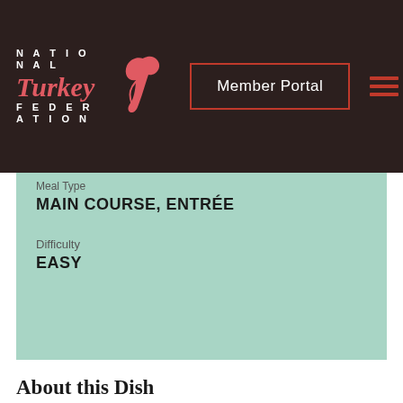NATIONAL Turkey FEDERATION | Member Portal | [hamburger menu]
Meal Type
MAIN COURSE, ENTRÉE
Difficulty
EASY
About this Dish
"In the summertime, grilling is life. It's basically the only way I will cook when it's over 80 degrees....which is all summer for us. In comes